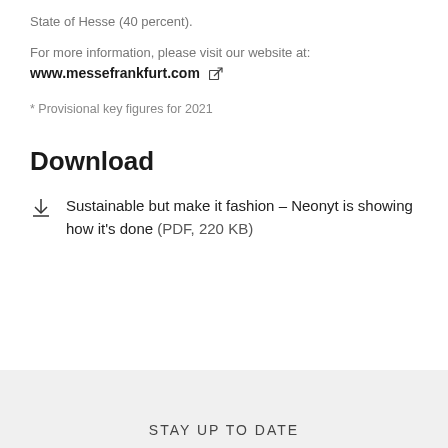State of Hesse (40 percent).
For more information, please visit our website at:
www.messefrankfurt.com ⧉
* Provisional key figures for 2021
Download
Sustainable but make it fashion – Neonyt is showing how it’s done (PDF, 220 KB)
STAY UP TO DATE